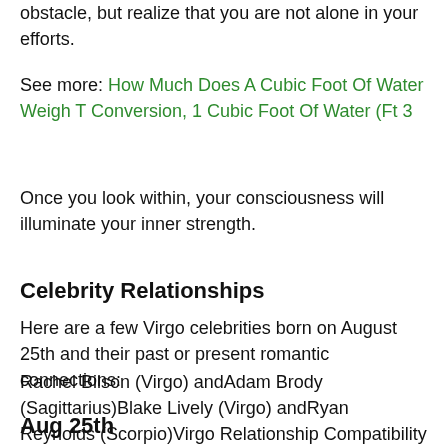obstacle, but realize that you are not alone in your efforts.
See more: How Much Does A Cubic Foot Of Water Weigh T Conversion, 1 Cubic Foot Of Water (Ft 3
Once you look within, your consciousness will illuminate your inner strength.
Celebrity Relationships
Here are a few Virgo celebrities born on August 25th and their past or present romantic connections:
Rachel Bilson (Virgo) andAdam Brody (Sagittarius)Blake Lively (Virgo) andRyan Reynolds (Scorpio)Virgo Relationship Compatibility
Aug 25th